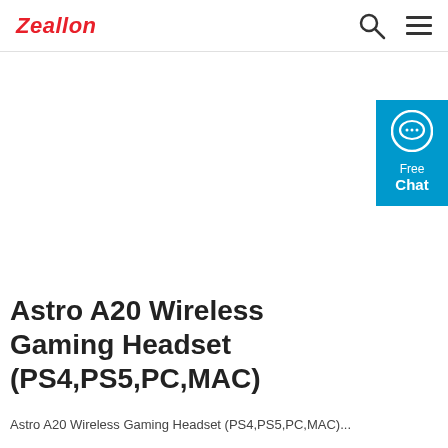Zeallon
[Figure (other): Large white/empty product image area (product image not loaded or blank)]
[Figure (other): Blue chat widget on right side showing speech bubble icon with text 'Free Chat']
Astro A20 Wireless Gaming Headset (PS4,PS5,PC,MAC)
Astro A20 Wireless Gaming Headset (PS4,PS5,PC,MAC)...